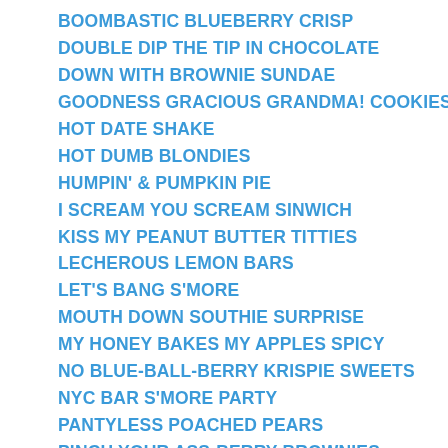BOOMBASTIC BLUEBERRY CRISP
DOUBLE DIP THE TIP IN CHOCOLATE
DOWN WITH BROWNIE SUNDAE
GOODNESS GRACIOUS GRANDMA! COOKIES
HOT DATE SHAKE
HOT DUMB BLONDIES
HUMPIN' & PUMPKIN PIE
I SCREAM YOU SCREAM SINWICH
KISS MY PEANUT BUTTER TITTIES
LECHEROUS LEMON BARS
LET'S BANG S'MORE
MOUTH DOWN SOUTHIE SURPRISE
MY HONEY BAKES MY APPLES SPICY
NO BLUE-BALL-BERRY KRISPIE SWEETS
NYC BAR S'MORE PARTY
PANTYLESS POACHED PEARS
PINCH YOUR ASS-BERRY BROWNIES
POP THEIR CHERRY JUBILEE
PORN-FLAKE FRISKEES
RAM THAT GRAHAM